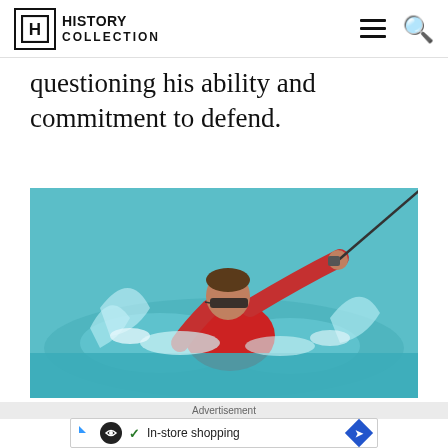History Collection
questioning his ability and commitment to defend.
[Figure (photo): A man in a red shirt wearing sunglasses fishing with a rod while standing waist-deep in splashing ocean water]
Advertisement
[Figure (screenshot): Advertisement banner showing a circular logo, checkmark, text 'In-store shopping', and a blue diamond arrow icon]